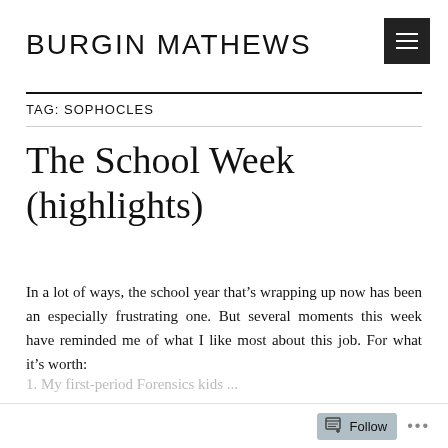BURGIN MATHEWS
TAG: SOPHOCLES
The School Week (highlights)
In a lot of ways, the school year that’s wrapping up now has been an especially frustrating one. But several moments this week have reminded me of what I like most about this job. For what it’s worth:
Follow •••